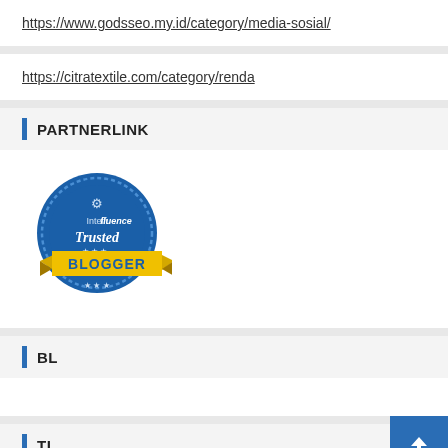https://www.godsseo.my.id/category/media-sosial/
https://citratextile.com/category/renda
PARTNERLINK
[Figure (logo): Intellifluence Trusted Blogger badge - circular blue badge with yellow ribbon banner]
BL
TL